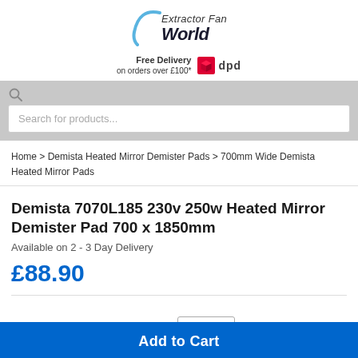[Figure (logo): Extractor Fan World logo with blue arc swoosh and italic bold text, plus Free Delivery on orders over £100 with DPD courier logo]
Search for products...
Home > Demista Heated Mirror Demister Pads > 700mm Wide Demista Heated Mirror Pads
Demista 7070L185 230v 250w Heated Mirror Demister Pad 700 x 1850mm
Available on 2 - 3 Day Delivery
£88.90
Quantity: 1
Add to Cart